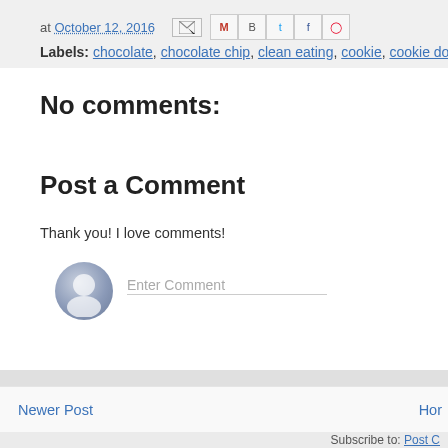at October 12, 2016
Labels: chocolate, chocolate chip, clean eating, cookie, cookie dough, D…
No comments:
Post a Comment
Thank you! I love comments!
[Figure (illustration): User avatar placeholder circle with silhouette icon and Enter Comment text field below]
Newer Post
Hom
Subscribe to: Post C…
Personalized TARGETED Nutrition saved me!